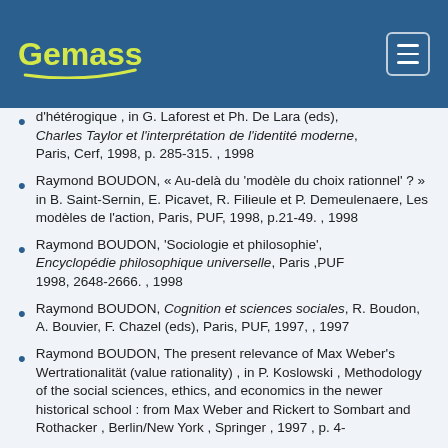Gemass
d'hétérogique , in G. Laforest et Ph. De Lara (eds), Charles Taylor et l'interprétation de l'identité moderne, Paris, Cerf, 1998, p. 285-315. , 1998
Raymond BOUDON, « Au-delà du 'modèle du choix rationnel' ? » in B. Saint-Sernin, E. Picavet, R. Filieule et P. Demeulenaere, Les modèles de l'action, Paris, PUF, 1998, p.21-49. , 1998
Raymond BOUDON, 'Sociologie et philosophie', Encyclopédie philosophique universelle, Paris ,PUF 1998, 2648-2666. , 1998
Raymond BOUDON, Cognition et sciences sociales, R. Boudon, A. Bouvier, F. Chazel (eds), Paris, PUF, 1997, , 1997
Raymond BOUDON, The present relevance of Max Weber's Wertrationalität (value rationality) , in P. Koslowski , Methodology of the social sciences, ethics, and economics in the newer historical school : from Max Weber and Rickert to Sombart and Rothacker , Berlin/New York , Springer , 1997 , p. 4-